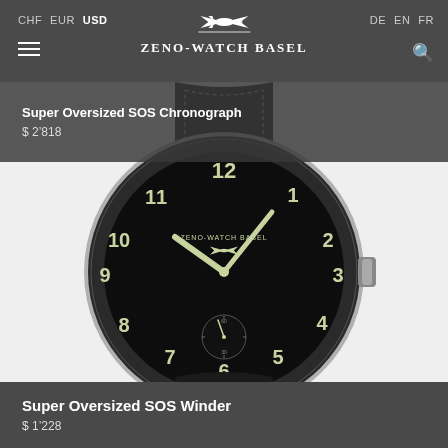ZENO-WATCH BASEL | CHF EUR USD | DE EN FR
Super Oversized SOS Chronograph
$ 2'818
[Figure (photo): Zeno-Watch Basel Super Oversized SOS Winder watch with black dial and luminous numerals on black leather strap, photographed on white background]
Super Oversized SOS Winder
$ 1'228